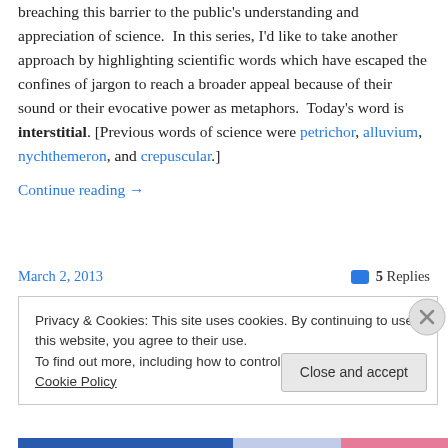breaching this barrier to the public's understanding and appreciation of science. In this series, I'd like to take another approach by highlighting scientific words which have escaped the confines of jargon to reach a broader appeal because of their sound or their evocative power as metaphors. Today's word is interstitial. [Previous words of science were petrichor, alluvium, nychthemeron, and crepuscular.]
Continue reading →
March 2, 2013
5 Replies
Privacy & Cookies: This site uses cookies. By continuing to use this website, you agree to their use.
To find out more, including how to control cookies, see here: Cookie Policy
Close and accept